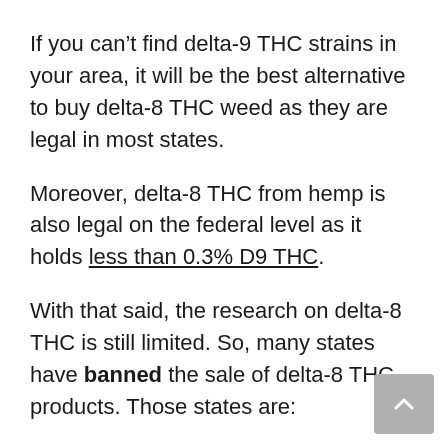If you can’t find delta-9 THC strains in your area, it will be the best alternative to buy delta-8 THC weed as they are legal in most states.
Moreover, delta-8 THC from hemp is also legal on the federal level as it holds less than 0.3% D9 THC.
With that said, the research on delta-8 THC is still limited. So, many states have banned the sale of delta-8 THC products. Those states are:
Alaska
Arizona
Arkansas